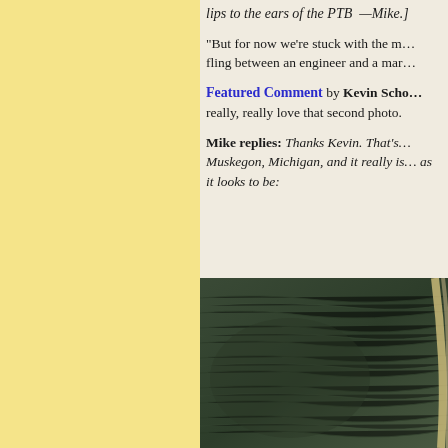lips to the ears of the PTB —Mike.]
"But for now we're stuck with the m... fling between an engineer and a mar...
Featured Comment by Kevin Scho... really, really love that second photo.
Mike replies: Thanks Kevin. That's... Muskegon, Michigan, and it really is... as it looks to be:
[Figure (photo): Close-up aerial or textured photo showing dark green textured surface, possibly a landscape or material, with a curved lighter-colored element visible at the right edge.]